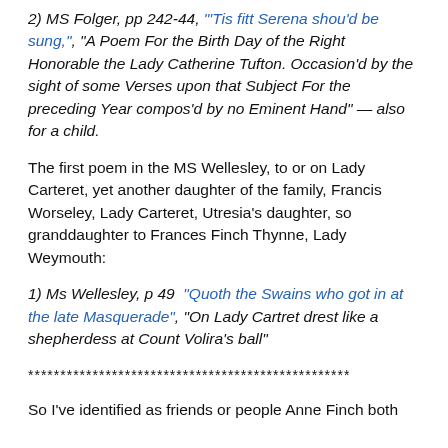2) MS Folger, pp 242-44, "'Tis fitt Serena shou'd be sung,", "A Poem For the Birth Day of the Right Honorable the Lady Catherine Tufton. Occasion'd by the sight of some Verses upon that Subject For the preceding Year compos'd by no Eminent Hand" — also for a child.
The first poem in the MS Wellesley, to or on Lady Carteret, yet another daughter of the family, Francis Worseley, Lady Carteret, Utresia's daughter, so granddaughter to Frances Finch Thynne, Lady Weymouth:
1) Ms Wellesley, p 49  "Quoth the Swains who got in at the late Masquerade", "On Lady Cartret drest like a shepherdess at Count Volira's ball"
**************************************************
So I've identified as friends or people Anne Finch both